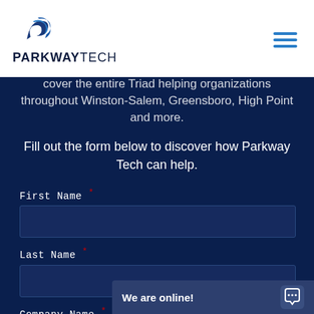[Figure (logo): Parkway Tech logo with a stylized arrow/swoosh icon above the text PARKWAYTECH]
cover the entire Triad helping organizations throughout Winston-Salem, Greensboro, High Point and more.
Fill out the form below to discover how Parkway Tech can help.
First Name *
Last Name *
Company Name *
We are online!